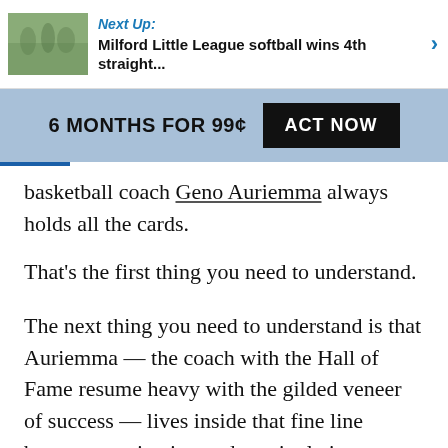Next Up: Milford Little League softball wins 4th straight...
6 MONTHS FOR 99¢  ACT NOW
basketball coach Geno Auriemma always holds all the cards.
That's the first thing you need to understand.
The next thing you need to understand is that Auriemma — the coach with the Hall of Fame resume heavy with the gilded veneer of success — lives inside that fine line between motivation and manipulation.